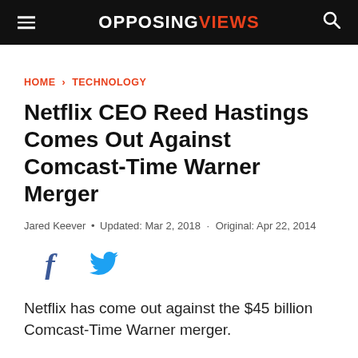OPPOSING VIEWS
HOME › TECHNOLOGY
Netflix CEO Reed Hastings Comes Out Against Comcast-Time Warner Merger
Jared Keever • Updated: Mar 2, 2018 · Original: Apr 22, 2014
[Figure (other): Social share icons: Facebook and Twitter]
Netflix has come out against the $45 billion Comcast-Time Warner merger.
Reed Hastings, CEO of the streaming-video